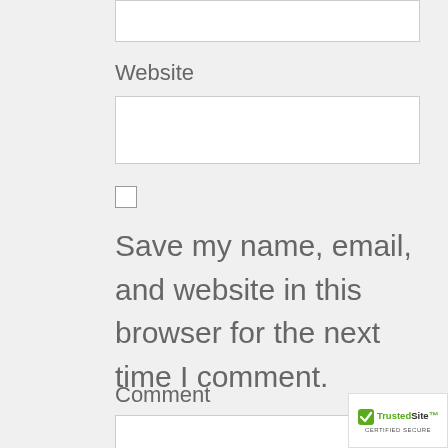[Figure (screenshot): Partial web form input box at top of page (clipped)]
Website
[Figure (screenshot): Website text input field (empty)]
[Figure (screenshot): Unchecked checkbox]
Save my name, email, and website in this browser for the next time I comment.
Comment
[Figure (screenshot): Comment textarea (partial, clipped at bottom)]
[Figure (logo): TrustedSite Certified Secure badge in bottom-right corner]